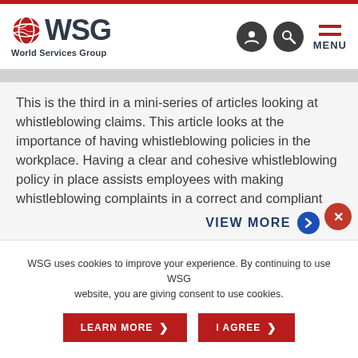WSG World Services Group
This is the third in a mini-series of articles looking at whistleblowing claims. This article looks at the importance of having whistleblowing policies in the workplace. Having a clear and cohesive whistleblowing policy in place assists employees with making whistleblowing complaints in a correct and compliant way and enables employers to handle them effectively in response ...
VIEW MORE
WSG uses cookies to improve your experience. By continuing to use WSG website, you are giving consent to use cookies.
LEARN MORE
I AGREE